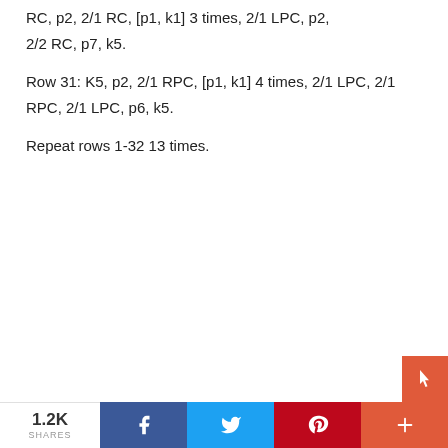RC, p2, 2/1 RC, [p1, k1] 3 times, 2/1 LPC, p2, 2/2 RC, p7, k5.
Row 31: K5, p2, 2/1 RPC, [p1, k1] 4 times, 2/1 LPC, 2/1 RPC, 2/1 LPC, p6, k5.
Repeat rows 1-32 13 times.